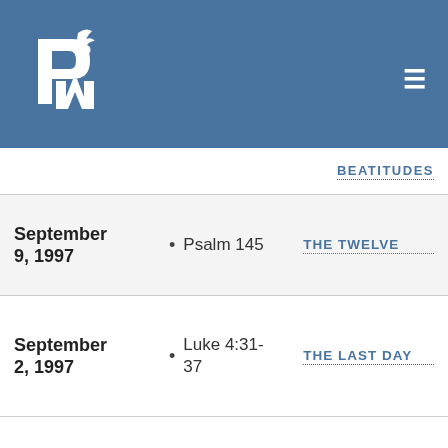PM logo with hamburger menu
BEATITUDES
September 9, 1997 • Psalm 145 THE TWELVE
September 2, 1997 • Luke 4:31-37 THE LAST DAY
April 29, 1997 • Psalm 145 COME-BACKS